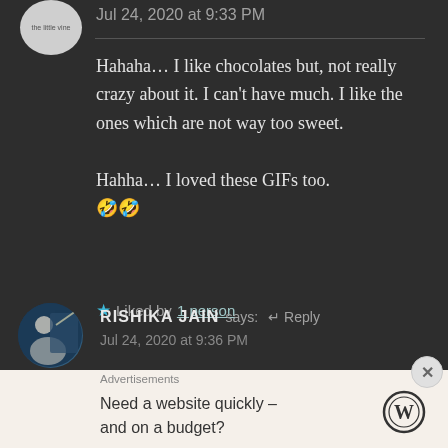Jul 24, 2020 at 9:33 PM
Hahaha… I like chocolates but, not really crazy about it. I can't have much. I like the ones which are not way too sweet.

Hahha… I loved these GIFs too. 🤣🤣
★ Liked by 1 person
RISHIKA JAIN says: ↵ Reply
Jul 24, 2020 at 9:36 PM
Advertisements
Need a website quickly – and on a budget?